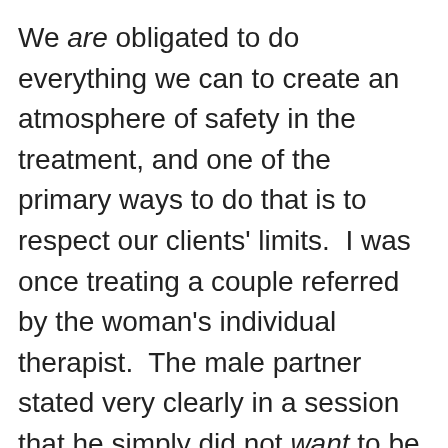We are obligated to do everything we can to create an atmosphere of safety in the treatment, and one of the primary ways to do that is to respect our clients' limits.  I was once treating a couple referred by the woman's individual therapist.  The male partner stated very clearly in a session that he simply did not want to be in the relationship.  I accepted his courageous move to state his wishes, and we terminated the couples treatment.  I was seriously